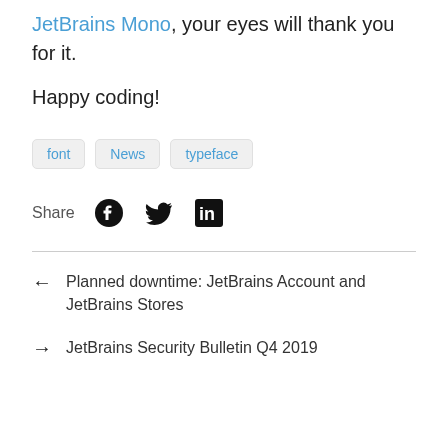JetBrains Mono, your eyes will thank you for it.
Happy coding!
font
News
typeface
Share
Planned downtime: JetBrains Account and JetBrains Stores
JetBrains Security Bulletin Q4 2019